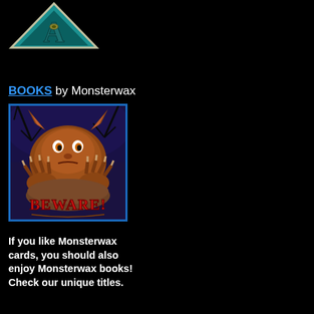[Figure (logo): Monsterwax logo — a teal/blue triangle with a large decorative letter A and an eye-like jewel in the center, on a dark background]
BOOKS by Monsterwax
[Figure (illustration): Book cover for a Monsterwax book — a grotesque goblin-like creature with orange fur, large pointy ears, and long clawed hands gripping a rounded surface, against a dark blue nighttime sky with bare trees. Red stylized text at the bottom reads BEWARE!]
If you like Monsterwax cards, you should also enjoy Monsterwax books! Check our unique titles.